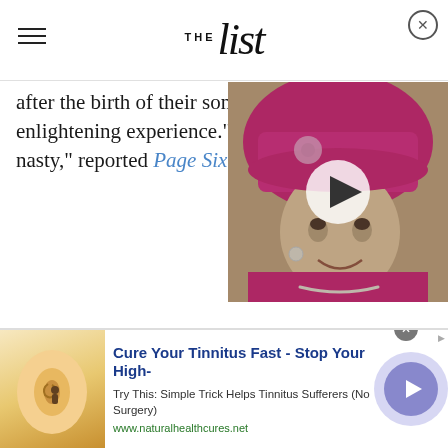THE List
after the birth of their son, b enlightening experience." The nasty," reported Page Six in 2
[Figure (photo): Elderly woman wearing a bright pink hat and jacket, smiling, with a video play button overlay]
[Figure (infographic): Advertisement banner: Cure Your Tinnitus Fast - Stop Your High- | Try This: Simple Trick Helps Tinnitus Sufferers (No Surgery) | www.naturalhealthcures.net]